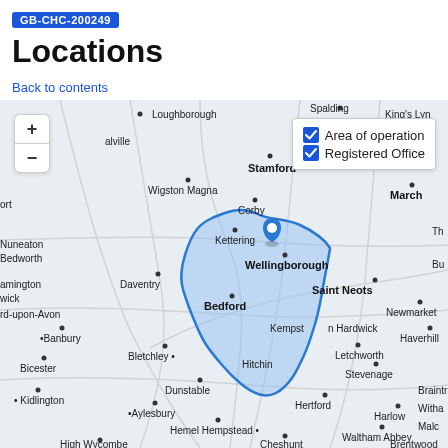GB-CHC-200249
Locations
Back to contents
[Figure (map): Interactive map of England showing area of operation highlighted in blue around Bedfordshire/Hertfordshire region, with a blue map pin marker near Saint Neots/Kempston Hardwick area. Map shows surrounding towns and cities including Loughborough, Stamford, Wigston Magna, Corby, Kettering, Wellingborough, Bedford, Saint Neots, Newmarket, Haverhill, Letchworth, Stevenage, Hertford, Dunstable, Bletchley, Aylesbury, Hemel Hempstead, High Wycombe, Cheshunt, Waltham Abbey, Brentwood, Braintree, March, King's Lynn, Nuneaton, Bedworth, Banbury, Bicester, Kidlington, Daventry, Harlow, and others. Legend shows blue checkbox icons for Area of operation and Registered Office.]